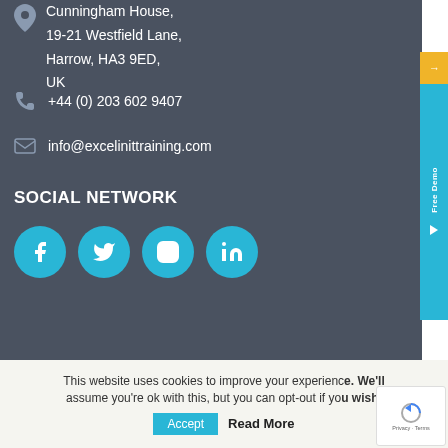Cunningham House, 19-21 Westfield Lane, Harrow, HA3 9ED, UK
+44 (0) 203 602 9407
info@excelinittraining.com
SOCIAL NETWORK
[Figure (infographic): Four social media icon circles (Facebook, Twitter, Instagram, LinkedIn) in teal/cyan color]
This website uses cookies to improve your experience. We'll assume you're ok with this, but you can opt-out if you wish.
Accept  Read More